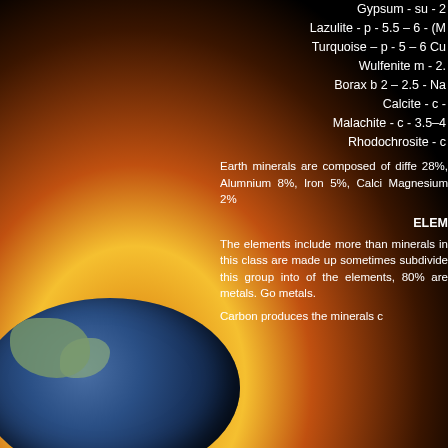[Figure (illustration): Background image showing Earth globe with flames rising from it against a black background]
Gypsum - su - 2
Lazulite - p - 5.5 – 6 - (M
Turquoise – p - 5 – 6 Cu
Wulfenite m - 2.
Borax b 2 – 2.5 - Na
Calcite - c -
Malachite - c - 3.5–4
Rhodochrosite - c
Earth minerals are composed of diffe 28%, Alumnium 8%, Iron 5%, Calci Magnesium 2%
ELEM
The elements include more than minerals in this class are made up sometimes subdivide this group into of the elements, 80% are metals. Go metals.
Carbon produces the minerals c